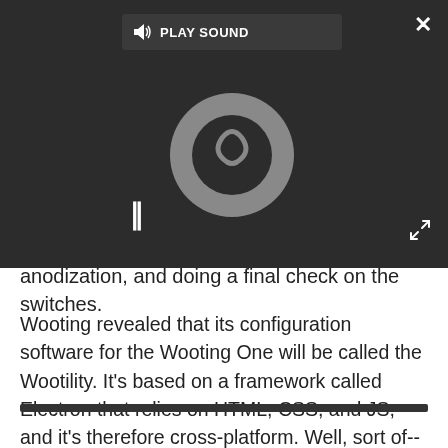[Figure (screenshot): Screenshot overlay showing a media player with a dark background. A 'PLAY SOUND' toolbar appears at top center with a speaker icon. A circular spinner/loading indicator is shown in the center. A pause button (||) appears at bottom left of the player. A close (X) button is at top right. An expand icon is at bottom right.]
anodization, and doing a final check on the switches.
Wooting revealed that its configuration software for the Wooting One will be called the Wootility. It's based on a framework called Electron that relies on HTML, CSS, and JS, and it's therefore cross-platform. Well, sort of--the configuration part works on PC, Mac, and Linux, but the analog sensing part is trickier. Wooting said that you need to add Xinput drivers, and although there are open source versions available, there's no guarantee that they'll work perfectly.